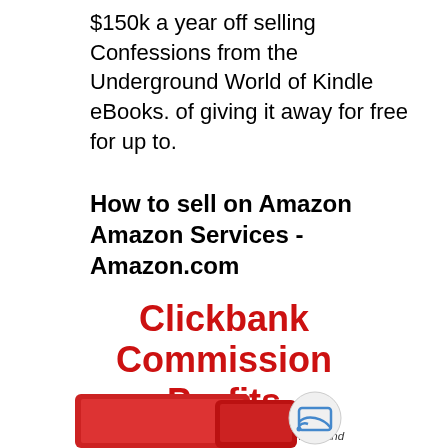$150k a year off selling Confessions from the Underground World of Kindle eBooks. of giving it away for free for up to.
How to sell on Amazon Amazon Services - Amazon.com
[Figure (illustration): Clickbank Commission Profits promotional graphic with red title text, subtitle about selling Clickbank products via video reviews and making $500-$1,000 per month in affiliate commissions, and device imagery (tablet and phone with cast icon)]